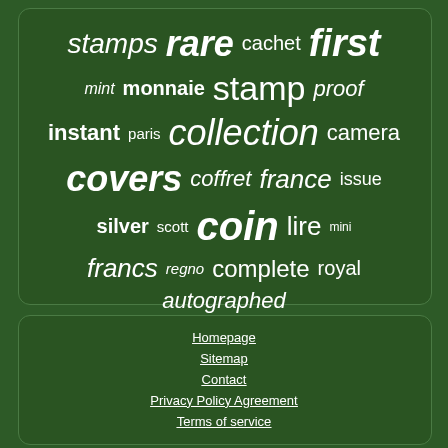[Figure (infographic): Word cloud on dark green background with philatelic and numismatic terms in varying sizes: stamps, rare, cachet, first, mint, monnaie, stamp, proof, instant, paris, collection, camera, covers, coffret, france, issue, silver, scott, coin, lire, mini, francs, regno, complete, royal, autographed]
Homepage
Sitemap
Contact
Privacy Policy Agreement
Terms of service